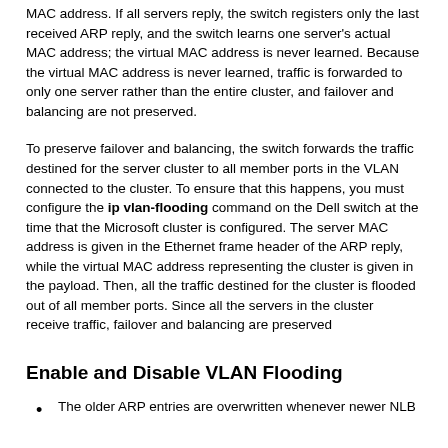MAC address. If all servers reply, the switch registers only the last received ARP reply, and the switch learns one server's actual MAC address; the virtual MAC address is never learned. Because the virtual MAC address is never learned, traffic is forwarded to only one server rather than the entire cluster, and failover and balancing are not preserved.
To preserve failover and balancing, the switch forwards the traffic destined for the server cluster to all member ports in the VLAN connected to the cluster. To ensure that this happens, you must configure the ip vlan-flooding command on the Dell switch at the time that the Microsoft cluster is configured. The server MAC address is given in the Ethernet frame header of the ARP reply, while the virtual MAC address representing the cluster is given in the payload. Then, all the traffic destined for the cluster is flooded out of all member ports. Since all the servers in the cluster receive traffic, failover and balancing are preserved
Enable and Disable VLAN Flooding
The older ARP entries are overwritten whenever newer NLB